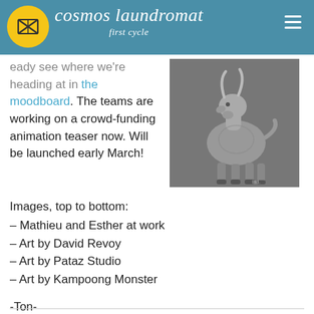cosmos laundromat – first cycle
eady see where we're heading at in the moodboard. The teams are working on a crowd-funding animation teaser now. Will be launched early March!
[Figure (illustration): Grayscale digital illustration of a goat-like creature with horns and detailed body markings, standing on a dark gray background.]
Images, top to bottom:
– Mathieu and Esther at work
– Art by David Revoy
– Art by Pataz Studio
– Art by Kampoong Monster
-Ton-